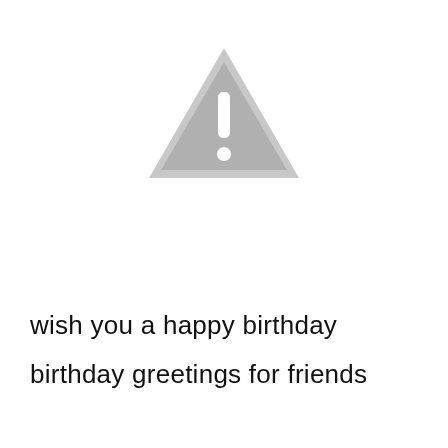[Figure (illustration): Gray warning triangle icon with white exclamation mark inside, centered near the top of the page.]
wish you a happy birthday
birthday greetings for friends